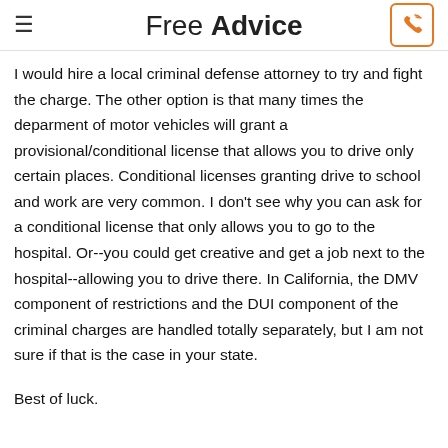Free Advice
I would hire a local criminal defense attorney to try and fight the charge. The other option is that many times the deparment of motor vehicles will grant a provisional/conditional license that allows you to drive only certain places. Conditional licenses granting drive to school and work are very common. I don't see why you can ask for a conditional license that only allows you to go to the hospital. Or--you could get creative and get a job next to the hospital--allowing you to drive there. In California, the DMV component of restrictions and the DUI component of the criminal charges are handled totally separately, but I am not sure if that is the case in your state.
Best of luck.